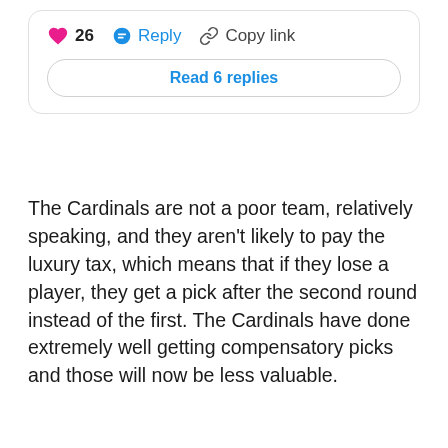[Figure (screenshot): Social media comment interaction bar with a pink heart icon showing 26 likes, a blue Reply button, a Copy link button, and a 'Read 6 replies' button below.]
The Cardinals are not a poor team, relatively speaking, and they aren't likely to pay the luxury tax, which means that if they lose a player, they get a pick after the second round instead of the first. The Cardinals have done extremely well getting compensatory picks and those will now be less valuable.